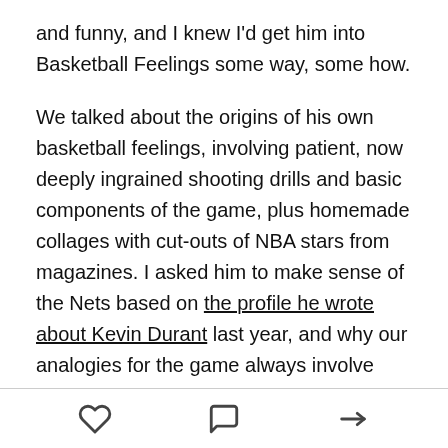and funny, and I knew I'd get him into Basketball Feelings some way, some how.
We talked about the origins of his own basketball feelings, involving patient, now deeply ingrained shooting drills and basic components of the game, plus homemade collages with cut-outs of NBA stars from magazines. I asked him to make sense of the Nets based on the profile he wrote about Kevin Durant last year, and why our analogies for the game always involve cosmology, including the gravitational pull between Durant and Russell Westbrook.
We also talked about the Bubble and how weird it was, the tragic history of the Portland Trail Blazers through
[heart icon] [comment icon] [share icon]